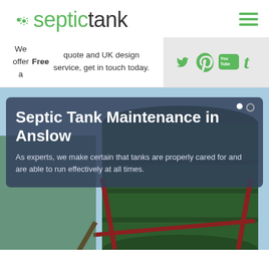[Figure (logo): Septic Tank company logo with green 'septic' and dark 'tank' text]
We offer a Free quote and UK design service, get in touch today.
[Figure (infographic): Social media icons: Twitter, Pinterest, YouTube, Tumblr in green]
Septic Tank Maintenance in Anslow
As experts, we make certain that tanks are properly cared for and are able to run effectively at all times.
[Figure (photo): Large dark green cylindrical septic tank on red metal supports against a blue sky background]